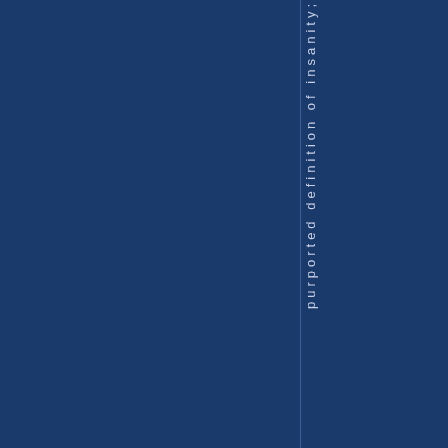purported definition of insanity;